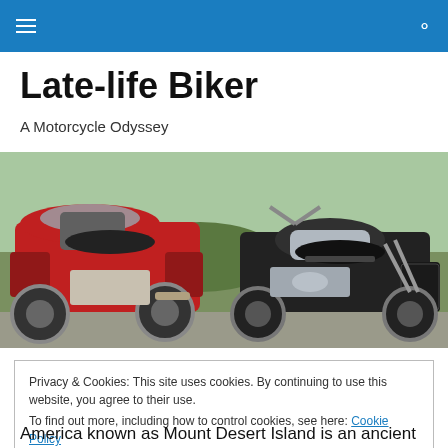Late-life Biker — navigation header bar with hamburger menu and search icon
Late-life Biker
A Motorcycle Odyssey
[Figure (photo): Two motorcycles parked side by side outdoors — a red touring motorcycle (Honda Gold Wing) on the left and a black cruiser motorcycle on the right, with shrubs/grass in the background]
Privacy & Cookies: This site uses cookies. By continuing to use this website, you agree to their use.
To find out more, including how to control cookies, see here: Cookie Policy

[Close and accept]
America known as Mount Desert Island is an ancient